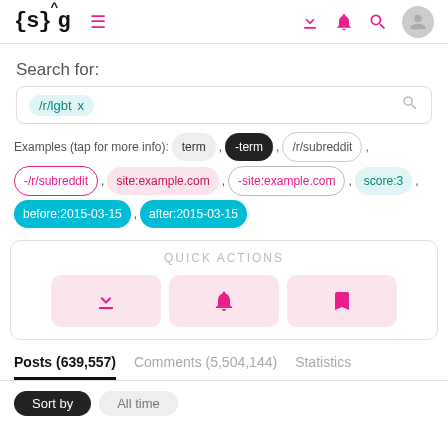{s}g — hamburger menu, download icon, bell icon, search icon, user avatar
Search for:
/r/lgbt x
Examples (tap for more info): term , -term , /r/subreddit , -/r/subreddit , site:example.com , -site:example.com , score:3 , before:2015-03-15 , after:2015-03-15
QUICK ACTIONS
Posts (639,557)   Comments (5,504,144)   Statistics